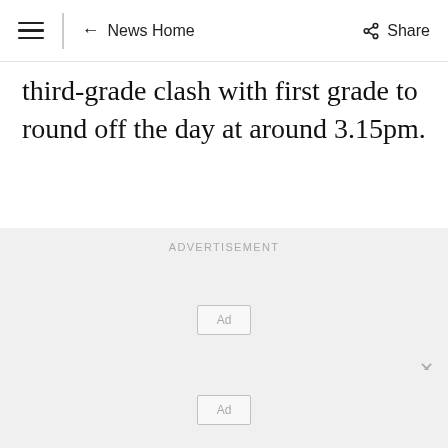≡ | ← News Home    Share
third-grade clash with first grade to round off the day at around 3.15pm.
[Figure (other): Advertisement placeholder section with 'ADVERTISEMENT' label and two Ad boxes]